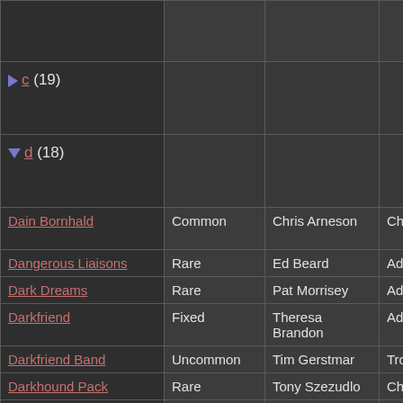| Name | Rarity | Artist | Type | Set |
| --- | --- | --- | --- | --- |
| c (19) |  |  |  |  |
| d (18) |  |  |  |  |
| Dain Bornhald | Common | Chris Arneson | Character | Chi Lig |
| Dangerous Liaisons | Rare | Ed Beard | Advantage | Play |
| Dark Dreams | Rare | Pat Morrisey | Advantage | Play |
| Darkfriend | Fixed | Theresa Brandon | Advantage | Cha |
| Darkfriend Band | Uncommon | Tim Gerstmar | Troop | Dar |
| Darkhound Pack | Rare | Tony Szezudlo | Character | Dar |
| Debt of Honor | Fixed | Steve Snyder | Challenge |  |